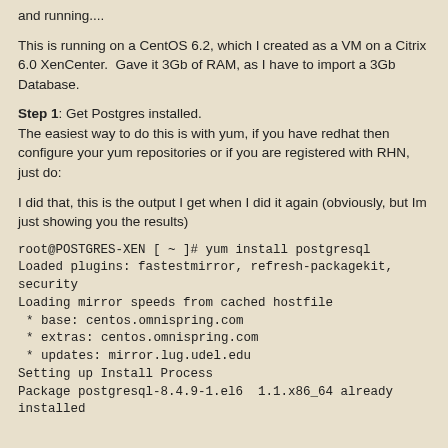and running....
This is running on a CentOS 6.2, which I created as a VM on a Citrix 6.0 XenCenter.  Gave it 3Gb of RAM, as I have to import a 3Gb Database.
Step 1: Get Postgres installed.
The easiest way to do this is with yum, if you have redhat then configure your yum repositories or if you are registered with RHN, just do:
I did that, this is the output I get when I did it again (obviously, but Im just showing you the results)
root@POSTGRES-XEN [ ~ ]# yum install postgresql
Loaded plugins: fastestmirror, refresh-packagekit, security
Loading mirror speeds from cached hostfile
 * base: centos.omnispring.com
 * extras: centos.omnispring.com
 * updates: mirror.lug.udel.edu
Setting up Install Process
Package postgresql-8.4.9-1.el6  1.1.x86_64 already installed